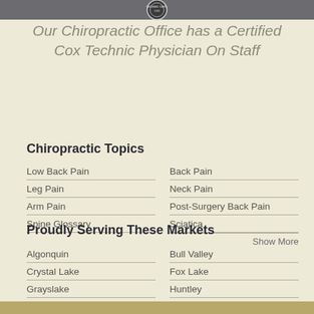[Figure (logo): Cox Technic Certified seal/badge logo at top]
Our Chiropractic Office has a Certified Cox Technic Physician On Staff
Chiropractic Topics
Low Back Pain
Back Pain
Leg Pain
Neck Pain
Arm Pain
Post-Surgery Back Pain
Spine Glossary
Sciatica
Show More
Proudly Serving These Markets
Algonquin
Bull Valley
Crystal Lake
Fox Lake
Grayslake
Huntley
Island Lake
Johnsburg
Show More